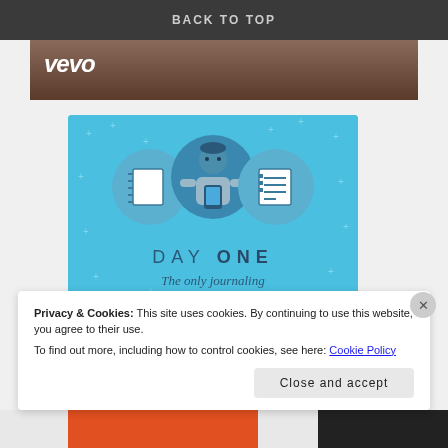BACK TO TOP
[Figure (screenshot): Vevo video thumbnail showing a person with Vevo logo]
[Figure (illustration): Day One journaling app advertisement with blue background, showing icons of a notebook, a person with phone, and a checklist. Text: DAY ONE - The only journaling app you'll ever need.]
Privacy & Cookies: This site uses cookies. By continuing to use this website, you agree to their use.
To find out more, including how to control cookies, see here: Cookie Policy
Close and accept